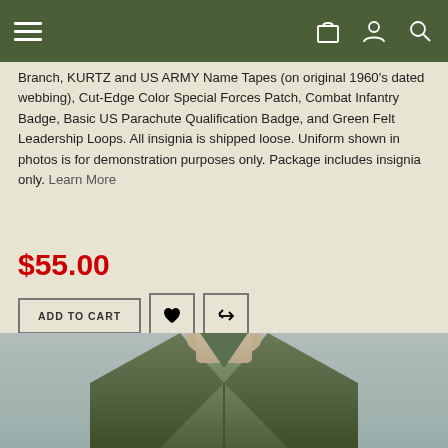Navigation bar with hamburger menu and icons
Branch, KURTZ and US ARMY Name Tapes (on original 1960's dated webbing), Cut-Edge Color Special Forces Patch, Combat Infantry Badge, Basic US Parachute Qualification Badge, and Green Felt Leadership Loops. All insignia is shipped loose. Uniform shown in photos is for demonstration purposes only. Package includes insignia only. Learn More
$55.00
ADD TO CART
[Figure (photo): Close-up photo of an olive drab military uniform jacket on a mannequin, showing collar and upper chest area]